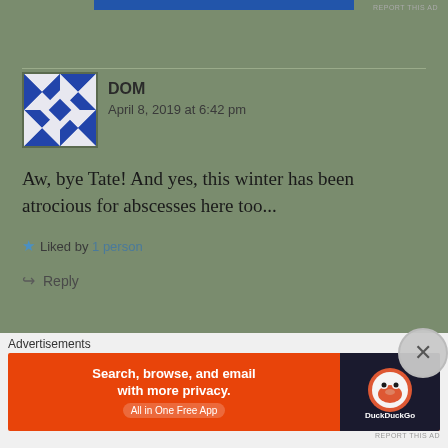[Figure (other): Blue advertisement banner strip at top]
REPORT THIS AD
DOM
April 8, 2019 at 6:42 pm
[Figure (illustration): Avatar image for user DOM - geometric quilt pattern in blue and white]
Aw, bye Tate! And yes, this winter has been atrocious for abscesses here too...
Liked by 1 person
Reply
MARTIDOLL123
April 9, 2019 at 8:37 am
[Figure (photo): Avatar photo for user MARTIDOLL123 - appears to be a horse photo]
Advertisements
[Figure (other): DuckDuckGo advertisement banner - orange background, Search browse and email with more privacy. All in One Free App.]
REPORT THIS AD